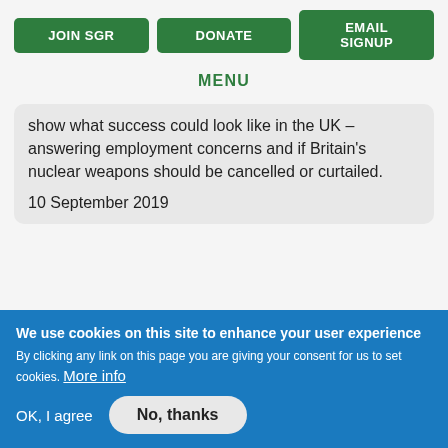JOIN SGR | DONATE | EMAIL SIGNUP
MENU
show what success could look like in the UK – answering employment concerns and if Britain's nuclear weapons should be cancelled or curtailed.

10 September 2019
We use cookies on this site to enhance your user experience
By clicking any link on this page you are giving your consent for us to set cookies. More info
OK, I agree   No, thanks